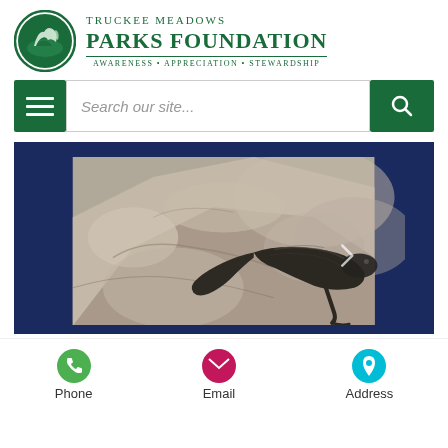[Figure (logo): Truckee Meadows Parks Foundation logo with circular emblem showing horses/nature scene, green color scheme. Text reads: TRUCKEE MEADOWS PARKS FOUNDATION, AWARENESS • APPRECIATION • STEWARDSHIP]
[Figure (screenshot): Mobile website screenshot showing a hamburger menu button and search bar with placeholder text 'Search our site...' and a green search button]
[Figure (photo): Close-up photograph of a lizard on rocky granite surface, dark blue border frame around the photo]
[Figure (infographic): Contact bar at bottom with three icons: green phone icon labeled Phone, pink/magenta email envelope icon labeled Email, teal/cyan location pin icon labeled Address]